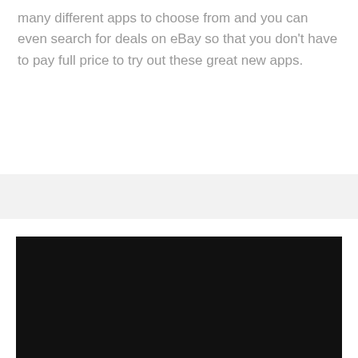many different apps to choose from and you can even search for deals on eBay so that you don't have to pay full price to try out these great new apps.
[Figure (other): Light gray horizontal banner/bar area]
[Figure (photo): Dark/black rectangular image block]